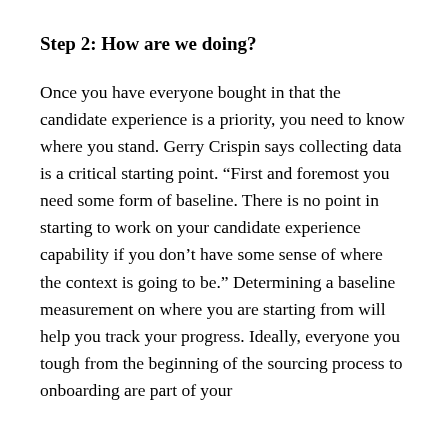Step 2:  How are we doing?
Once you have everyone bought in that the candidate experience is a priority, you need to know where you stand.  Gerry Crispin says collecting data is a critical starting point. “First and foremost you need some form of baseline.  There is no point in starting to work on your candidate experience capability if you don’t have some sense of where the context is going to be.”   Determining a baseline measurement on where you are starting from will help you track your progress.  Ideally, everyone you tough from the beginning of the sourcing process to onboarding are part of your